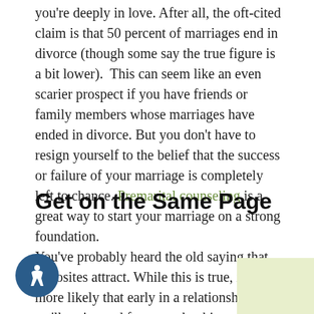you're deeply in love. After all, the oft-cited claim is that 50 percent of marriages end in divorce (though some say the true figure is a bit lower).  This can seem like an even scarier prospect if you have friends or family members whose marriages have ended in divorce. But you don't have to resign yourself to the belief that the success or failure of your marriage is completely left to chance. Premarital counseling is a great way to start your marriage on a strong foundation.
Get on the Same Page
You've probably heard the old saying that opposites attract. While this is true, it's more likely that early in a relationship, we'll notice and focus on the things we have in common. The significant differences between